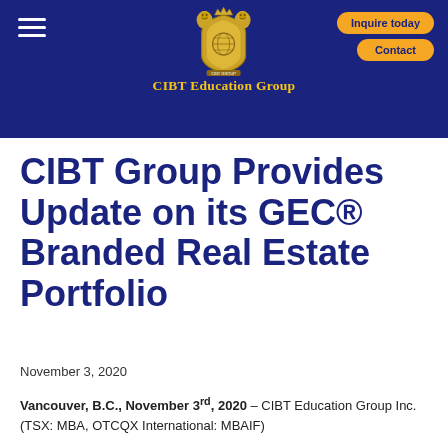CIBT Education Group
CIBT Group Provides Update on its GEC® Branded Real Estate Portfolio
November 3, 2020
Vancouver, B.C., November 3rd, 2020 – CIBT Education Group Inc. (TSX: MBA, OTCQX International: MBAIF)